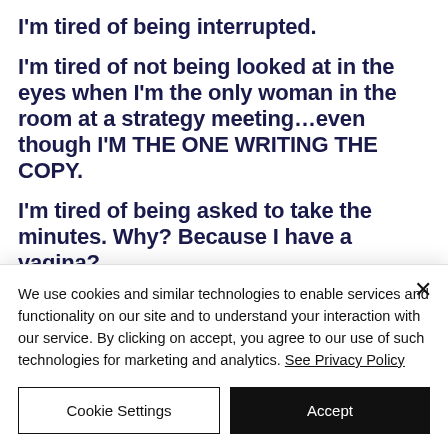I'm tired of being interrupted.
I'm tired of not being looked at in the eyes when I'm the only woman in the room at a strategy meeting…even though I'M THE ONE WRITING THE COPY.
I'm tired of being asked to take the minutes. Why? Because I have a vagina?
We use cookies and similar technologies to enable services and functionality on our site and to understand your interaction with our service. By clicking on accept, you agree to our use of such technologies for marketing and analytics. See Privacy Policy